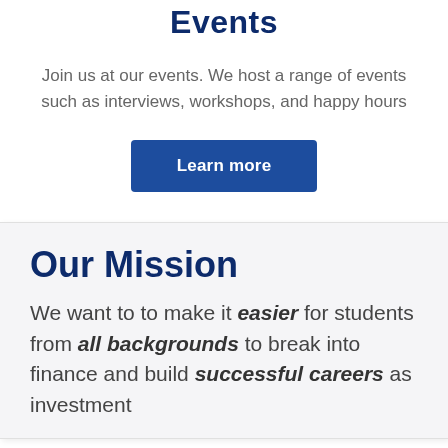Events
Join us at our events. We host a range of events such as interviews, workshops, and happy hours
Learn more
Our Mission
We want to to make it easier for students from all backgrounds to break into finance and build successful careers as investment